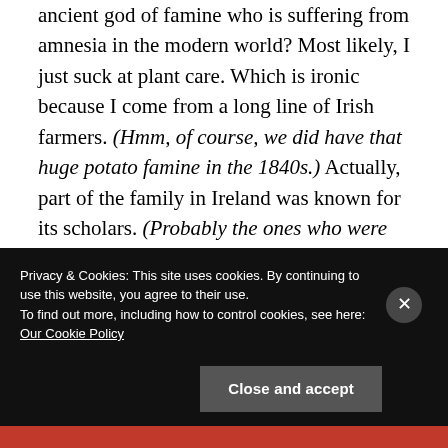ancient god of famine who is suffering from amnesia in the modern world? Most likely, I just suck at plant care. Which is ironic because I come from a long line of Irish farmers. (Hmm, of course, we did have that huge potato famine in the 1840s.) Actually, part of the family in Ireland was known for its scholars. (Probably the ones who were terrible at farming.) Actually, my Grandad Davoren gave up his claim to his father's small farm in Galway to become a dock worker in Liverpool if that tells you anything.
Privacy & Cookies: This site uses cookies. By continuing to use this website, you agree to their use. To find out more, including how to control cookies, see here: Our Cookie Policy
Close and accept